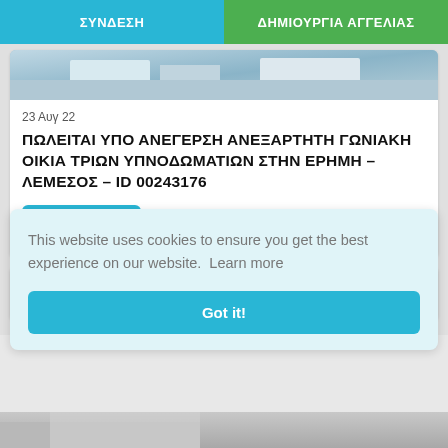ΣΥΝΔΕΣΗ | ΔΗΜΙΟΥΡΓΙΑ ΑΓΓΕΛΙΑΣ
[Figure (photo): Partial property photo at top of card]
23 Αυγ 22
ΠΩΛΕΙΤΑΙ ΥΠΟ ΑΝΕΓΕΡΣΗ ΑΝΕΞΑΡΤΗΤΗ ΓΩΝΙΑΚΗ ΟΙΚΙΑ ΤΡΙΩΝ ΥΠΝΟΔΩΜΑΤΙΩΝ ΣΤΗΝ ΕΡΗΜΗ – ΛΕΜΕΣΟΣ – ID 00243176
€390.000
[Figure (photo): Partial property photo for second listing card]
This website uses cookies to ensure you get the best experience on our website.  Learn more
Got it!
[Figure (photo): Partial street/property photo at bottom]